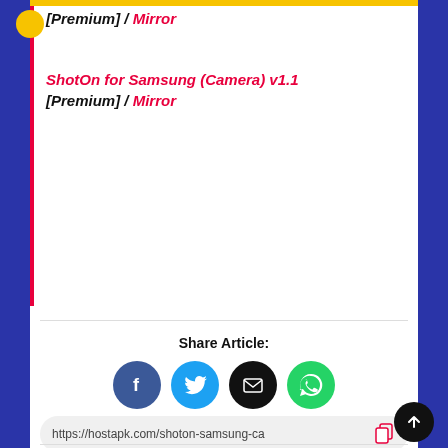[Premium] / Mirror
ShotOn for Samsung (Camera) v1.1
[Premium] / Mirror
Share Article:
[Figure (infographic): Social share icons: Facebook (blue circle with f), Twitter (cyan circle with bird), Email (black circle with envelope), WhatsApp (green circle with phone)]
https://hostapk.com/shoton-samsung-ca